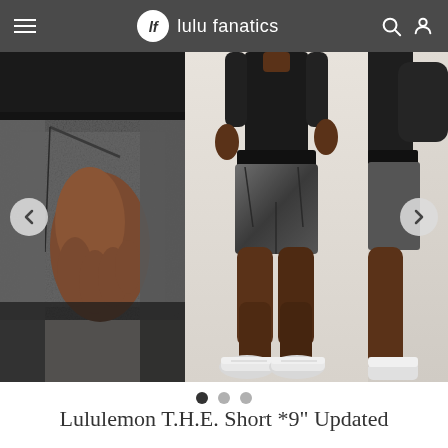lf lulu fanatics
[Figure (photo): Product carousel showing Lululemon T.H.E. Short *9" Updated from multiple angles: left panel shows close-up of shorts waistband and pocket with hand, center panel shows full body shot of male model wearing dark heathered grey shorts and white sneakers, right panel shows partial view of model from another angle. Previous and next navigation arrows visible on left and right sides.]
Lululemon T.H.E. Short *9" Updated